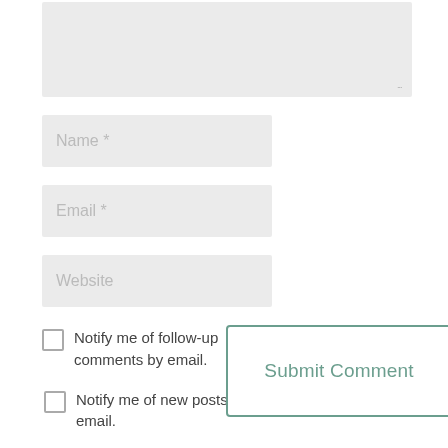[Figure (screenshot): A large text area input box with a resize handle at the bottom right, background light gray.]
Name *
Email *
Website
Notify me of follow-up comments by email.
Submit Comment
Notify me of new posts by email.